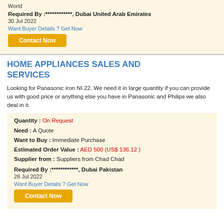World
Required By :************, Dubai United Arab Emirates
30 Jul 2022
Want Buyer Details ? Get Now
Contact Now
HOME APPLIANCES SALES AND SERVICES
Looking for Panasonic iron NI 22. We need it in large quantity if you can provide us with good price or anything else you have in Panasonic and Philips we also deal in it.
Quantity : On Request
Need : A Quote
Want to Buy : Immediate Purchase
Estimated Order Value : AED 500 (US$ 136.12 )
Supplier from : Suppliers from Chad Chad
Required By :************, Dubai Pakistan
28 Jul 2022
Want Buyer Details ? Get Now
Contact Now